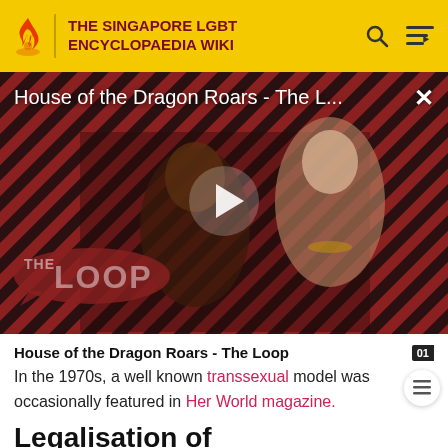THE SINGAPORE LGBT ENCYCLOPAEDIA WIKI
[Figure (screenshot): Video thumbnail for 'House of the Dragon Roars - The L...' showing two characters from House of the Dragon with THE LOOP branding overlay, diagonal stripe background in red and dark, with a white play button in the center and a close (×) button top right.]
House of the Dragon Roars - The Loop
In the 1970s, a well known transsexual model was occasionally featured in Her World magazine.
Legalisation of